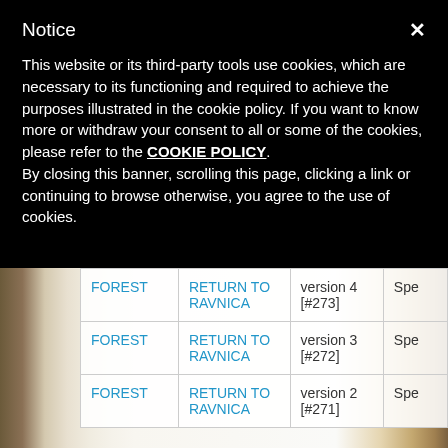Notice
This website or its third-party tools use cookies, which are necessary to its functioning and required to achieve the purposes illustrated in the cookie policy. If you want to know more or withdraw your consent to all or some of the cookies, please refer to the COOKIE POLICY. By closing this banner, scrolling this page, clicking a link or continuing to browse otherwise, you agree to the use of cookies.
|  |  |  |  |
| --- | --- | --- | --- |
| FOREST | RETURN TO RAVNICA | version 4 [#273] | Spe |
| FOREST | RETURN TO RAVNICA | version 3 [#272] | Spe |
| FOREST | RETURN TO RAVNICA | version 2 [#271] | Spe |